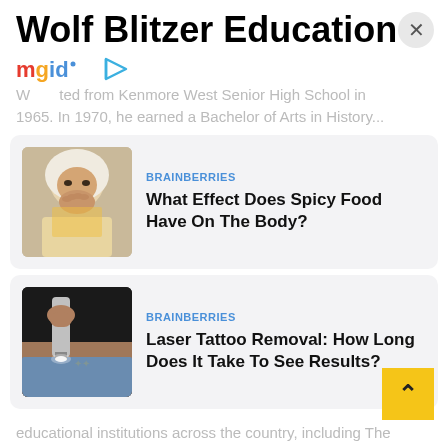Wolf Blitzer Education
[Figure (screenshot): mgid logo with play icon]
W...ted from Kenmore West Senior High School in 1965. In 1970, he earned a Bachelor of Arts in History...
[Figure (photo): BRAINBERRIES ad card: woman with face covering, headline: What Effect Does Spicy Food Have On The Body?]
[Figure (photo): BRAINBERRIES ad card: laser tattoo removal image, headline: Laser Tattoo Removal: How Long Does It Take To See Results?]
educational institutions across the country, including The George Washington University in Washington, D.C.; State University of New York at Buffalo; The Catholic Univ in Washington, D.C; Howard University in Washington, and The Pennsylvania State University in State College, Pa.